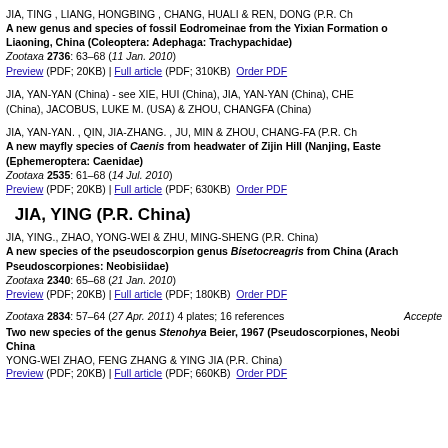JIA, TING , LIANG, HONGBING , CHANG, HUALI & REN, DONG (P.R. Ch...
A new genus and species of fossil Eodromeinae from the Yixian Formation of Liaoning, China (Coleoptera: Adephaga: Trachypachidae)
Zootaxa 2736: 63–68 (11 Jan. 2010)
Preview (PDF; 20KB) | Full article (PDF; 310KB) Order PDF
JIA, YAN-YAN (China) - see XIE, HUI (China), JIA, YAN-YAN (China), CHE... (China), JACOBUS, LUKE M. (USA) & ZHOU, CHANGFA (China)
JIA, YAN-YAN. , QIN, JIA-ZHANG. , JU, MIN & ZHOU, CHANG-FA (P.R. Ch...
A new mayfly species of Caenis from headwater of Zijin Hill (Nanjing, Easte... (Ephemeroptera: Caenidae)
Zootaxa 2535: 61–68 (14 Jul. 2010)
Preview (PDF; 20KB) | Full article (PDF; 630KB) Order PDF
JIA, YING (P.R. China)
JIA, YING., ZHAO, YONG-WEI & ZHU, MING-SHENG (P.R. China)
A new species of the pseudoscorpion genus Bisetocreagris from China (Arach... Pseudoscorpiones: Neobisiidae)
Zootaxa 2340: 65–68 (21 Jan. 2010)
Preview (PDF; 20KB) | Full article (PDF; 180KB) Order PDF
Zootaxa 2834: 57–64 (27 Apr. 2011) 4 plates; 16 references Accepte...
Two new species of the genus Stenohya Beier, 1967 (Pseudoscorpiones, Neobi... China
YONG-WEI ZHAO, FENG ZHANG & YING JIA (P.R. China)
Preview (PDF; 20KB) | Full article (PDF; 660KB) Order PDF